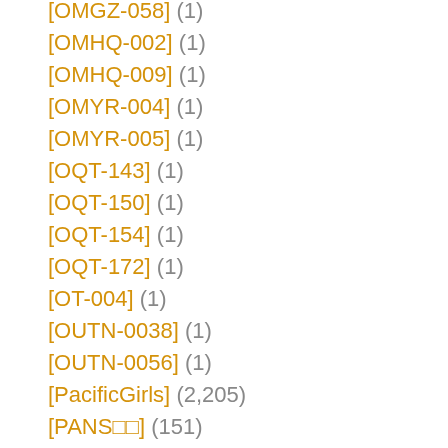[OMGZ-058] (1)
[OMHQ-002] (1)
[OMHQ-009] (1)
[OMYR-004] (1)
[OMYR-005] (1)
[OQT-143] (1)
[OQT-150] (1)
[OQT-154] (1)
[OQT-172] (1)
[OT-004] (1)
[OUTN-0038] (1)
[OUTN-0056] (1)
[PacificGirls] (2,205)
[PANS□□] (151)
[PAOD-0015] (1)